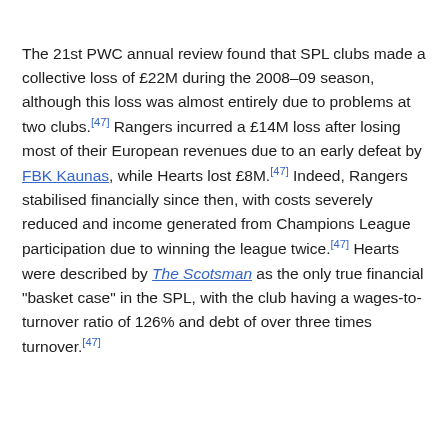The 21st PWC annual review found that SPL clubs made a collective loss of £22M during the 2008–09 season, although this loss was almost entirely due to problems at two clubs.[47] Rangers incurred a £14M loss after losing most of their European revenues due to an early defeat by FBK Kaunas, while Hearts lost £8M.[47] Indeed, Rangers stabilised financially since then, with costs severely reduced and income generated from Champions League participation due to winning the league twice.[47] Hearts were described by The Scotsman as the only true financial "basket case" in the SPL, with the club having a wages-to-turnover ratio of 126% and debt of over three times turnover.[47]